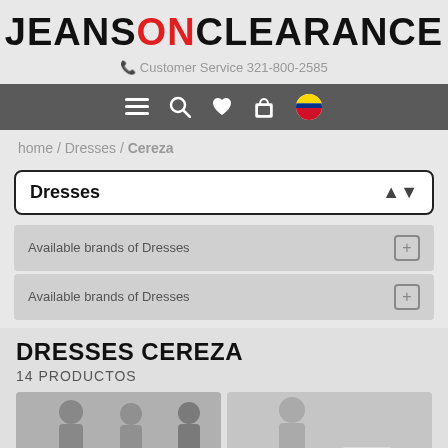JEANS ON CLEARANCE
Customer Service 321-800-2585
[Figure (screenshot): Navigation bar with menu, search, heart/wishlist, shopping bag, and Colombia flag icons on dark grey background]
home / Dresses / Cereza
Dresses
Available brands of Dresses
Available brands of Dresses
DRESSES CEREZA
14 PRODUCTOS
[Figure (photo): Two partial product photos of dresses at the bottom of the page]